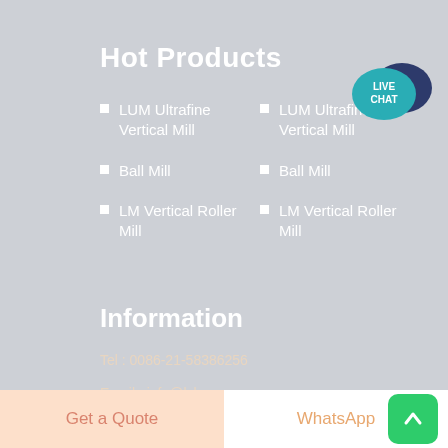Hot Products
LUM Ultrafine Vertical Mill
Ball Mill
LM Vertical Roller Mill
LUM Ultrafine Vertical Mill
Ball Mill
LM Vertical Roller Mill
[Figure (illustration): Live Chat speech bubble icon with teal foreground bubble labeled LIVE CHAT and dark navy blue background bubble]
Information
Tel : 0086-21-58386256
Email : info@lxlaw.com
Get a Quote   WhatsApp